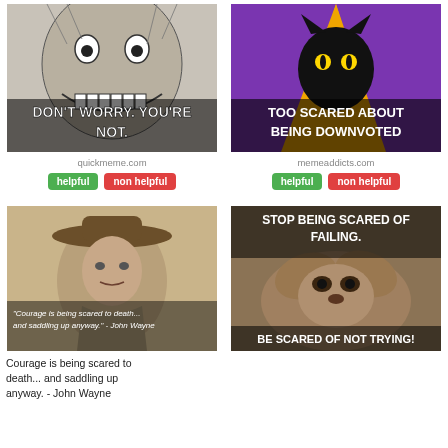[Figure (photo): Meme with creepy face illustration, text: DON'T WORRY. YOU'RE NOT.]
[Figure (photo): Meme with black cat on purple/orange background, text: TOO SCARED ABOUT BEING DOWNVOTED]
quickmeme.com
memeaddicts.com
helpful
non helpful
helpful
non helpful
[Figure (photo): Meme with John Wayne wearing cowboy hat, text: Courage is being scared to death... and saddling up anyway. - John Wayne]
[Figure (photo): Meme with bear covering face, text: STOP BEING SCARED OF FAILING. BE SCARED OF NOT TRYING!]
Courage is being scared to death... and saddling up anyway. - John Wayne